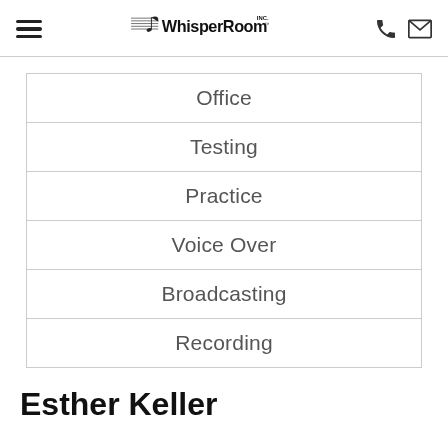WhisperRoom INC.
Office
Testing
Practice
Voice Over
Broadcasting
Recording
Esther Keller